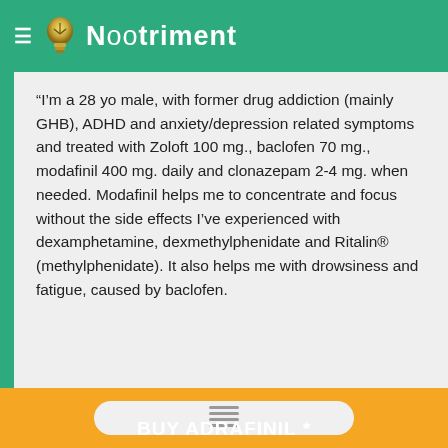NOOTRIMENT
“I’m a 28 yo male, with former drug addiction (mainly GHB), ADHD and anxiety/depression related symptoms and treated with Zoloft 100 mg., baclofen 70 mg., modafinil 400 mg. daily and clonazepam 2-4 mg. when needed. Modafinil helps me to concentrate and focus without the side effects I’ve experienced with dexamphetamine, dexmethylphenidate and Ritalin® (methylphenidate). It also helps me with drowsiness and fatigue, caused by baclofen.
BUY ADRAFINIL *